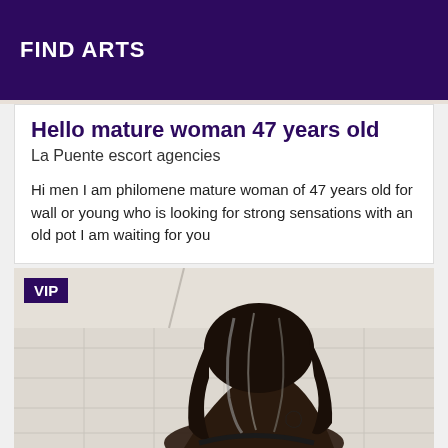FIND ARTS
Hello mature woman 47 years old
La Puente escort agencies
Hi men I am philomene mature woman of 47 years old for wall or young who is looking for strong sensations with an old pot I am waiting for you
[Figure (photo): Photo of a woman with long dark hair, viewed from behind, on a light tiled floor. A purple VIP badge is shown in the top-left corner of the image.]